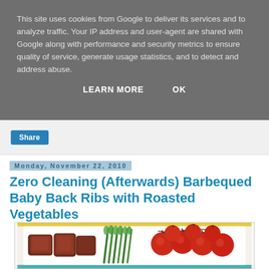This site uses cookies from Google to deliver its services and to analyze traffic. Your IP address and user-agent are shared with Google along with performance and security metrics to ensure quality of service, generate usage statistics, and to detect and address abuse.
LEARN MORE   OK
Share
Monday, November 22, 2010
Zero Cleaning (Afterwards) Barbequed Baby Back Ribs with Roasted Vegetables
[Figure (photo): Plate of barbequed baby back ribs alongside asparagus and cherry tomatoes on a white platter]